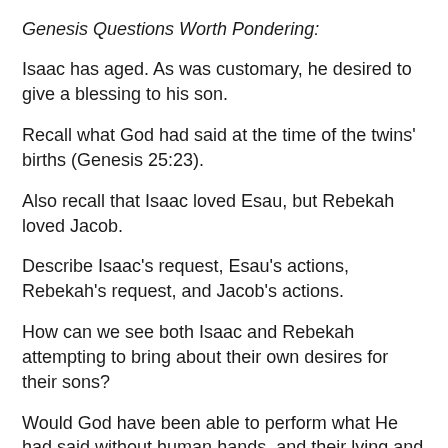Genesis Questions Worth Pondering:
Isaac has aged. As was customary, he desired to give a blessing to his son.
Recall what God had said at the time of the twins' births (Genesis 25:23).
Also recall that Isaac loved Esau, but Rebekah loved Jacob.
Describe Isaac's request, Esau's actions, Rebekah's request, and Jacob's actions.
How can we see both Isaac and Rebekah attempting to bring about their own desires for their sons?
Would God have been able to perform what He had said without human hands, and their lying and deception?